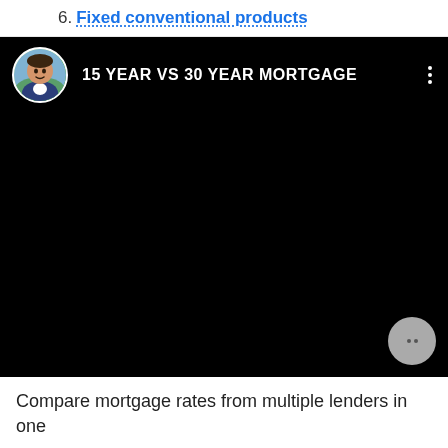6. Fixed conventional products
[Figure (screenshot): Embedded video thumbnail showing a dark/black screen with a circular avatar of a man in a suit on the top-left, and the title '15 YEAR VS 30 YEAR MORTGAGE' in white bold text. Three vertical dots menu icon on the top-right. A floating action button with two dots is visible at the bottom-right corner of the video.]
Compare mortgage rates from multiple lenders in one